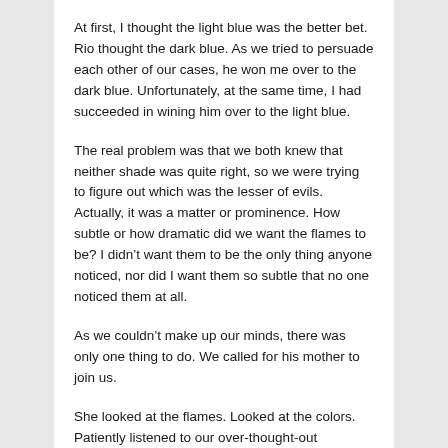At first, I thought the light blue was the better bet. Rio thought the dark blue. As we tried to persuade each other of our cases, he won me over to the dark blue. Unfortunately, at the same time, I had succeeded in wining him over to the light blue.
The real problem was that we both knew that neither shade was quite right, so we were trying to figure out which was the lesser of evils. Actually, it was a matter or prominence. How subtle or how dramatic did we want the flames to be? I didn't want them to be the only thing anyone noticed, nor did I want them so subtle that no one noticed them at all.
As we couldn't make up our minds, there was only one thing to do. We called for his mother to join us.
She looked at the flames. Looked at the colors. Patiently listened to our over-thought-out arguments on both of the blues, and then she declared that white was the best way to go, not blue at all.